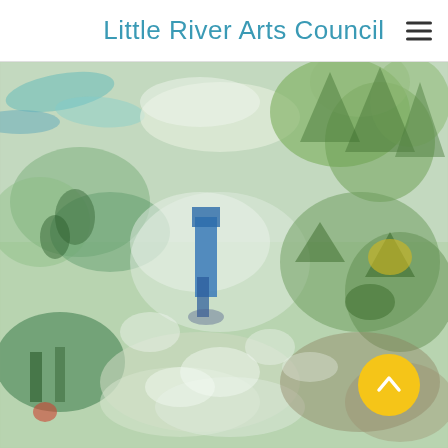Little River Arts Council
[Figure (illustration): Abstract impressionist painting featuring soft greens, teals, whites, and yellows depicting a lush garden or natural landscape. A central blue vertical figure or bird house stands amid loosely painted foliage. Brushwork is textured and gestural throughout.]